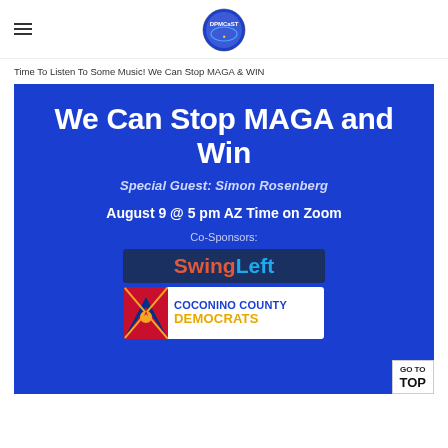DPMCast logo and hamburger menu
Time To Listen To Some Music! We Can Stop MAGA & WIN
[Figure (infographic): Blue banner with white bold text 'We Can Stop MAGA and Win', special guest Simon Rosenberg, August 9 @ 5 pm AZ Time on Zoom, Co-Sponsors: SwingLeft and Coconino County Democrats logos]